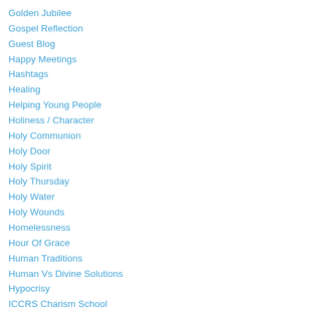Golden Jubilee
Gospel Reflection
Guest Blog
Happy Meetings
Hashtags
Healing
Helping Young People
Holiness / Character
Holy Communion
Holy Door
Holy Spirit
Holy Thursday
Holy Water
Holy Wounds
Homelessness
Hour Of Grace
Human Traditions
Human Vs Divine Solutions
Hypocrisy
ICCRS Charism School